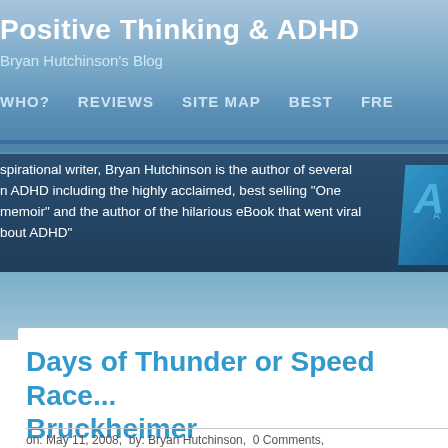Positive Thinking & ADHD — Bryan Hutchinson's Blog
WHO?   REVIEWS   SITE MAP   BEST   FRE
spirational writer, Bryan Hutchinson is the author of several n ADHD including the highly acclaimed, best selling "One memoir" and the author of the hilarious eBook that went viral bout ADHD"
Days of Thunder or Speed Race... Bruckheimer
on: May 11, 2008,  by: Bryan Hutchinson,  0 Comments,